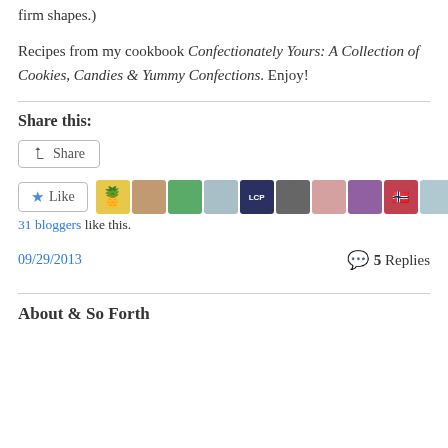firm shapes.)
Recipes from my cookbook Confectionately Yours: A Collection of Cookies, Candies & Yummy Confections. Enjoy!
Share this:
Share button
[Figure (other): Like button and 31 blogger avatars row]
31 bloggers like this.
09/29/2013
5 Replies
About & So Forth